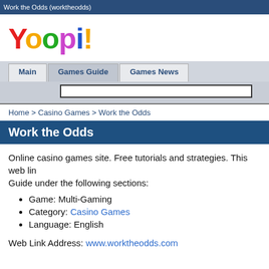Work the Odds (worktheodds)
[Figure (logo): Yoopi! logo with multicolored letters: Y in red, first o in orange, second o in green, p in purple, i in blue, ! in orange]
Main | Games Guide | Games News
Home > Casino Games > Work the Odds
Work the Odds
Online casino games site. Free tutorials and strategies. This web link is listed in the Yoopi! Games Guide under the following sections:
Game: Multi-Gaming
Category: Casino Games
Language: English
Web Link Address: www.worktheodds.com
Last Updated On: 5/30/2022